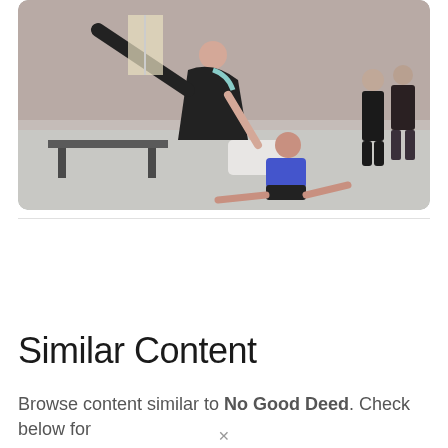[Figure (photo): A dance studio scene showing an adult instructor helping a young girl in a blue leotard stretch on the floor, while another person stands in the background near a wall.]
Similar Content
Browse content similar to No Good Deed. Check below for